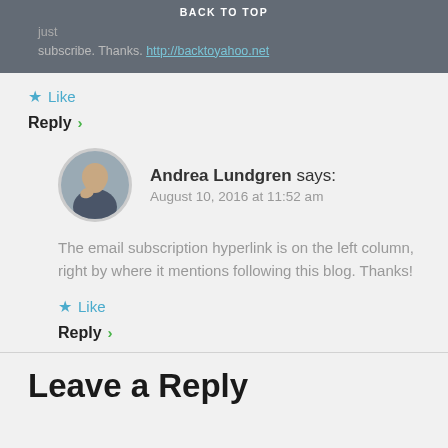BACK TO TOP
subscribe. Thanks. http://backtoyahoo.net
★ Like
Reply >
Andrea Lundgren says:
August 10, 2016 at 11:52 am
The email subscription hyperlink is on the left column, right by where it mentions following this blog. Thanks!
★ Like
Reply >
Leave a Reply